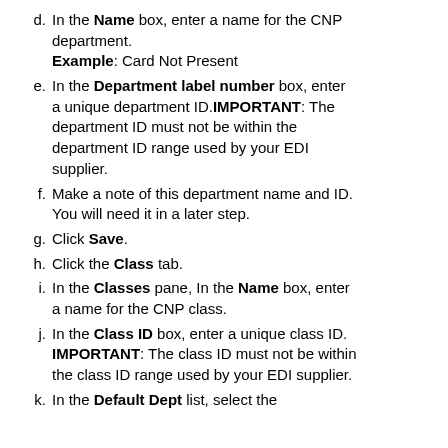d. In the Name box, enter a name for the CNP department.
Example: Card Not Present
e. In the Department label number box, enter a unique department ID. IMPORTANT: The department ID must not be within the department ID range used by your EDI supplier.
f. Make a note of this department name and ID. You will need it in a later step.
g. Click Save.
h. Click the Class tab.
i. In the Classes pane, In the Name box, enter a name for the CNP class.
j. In the Class ID box, enter a unique class ID. IMPORTANT: The class ID must not be within the class ID range used by your EDI supplier.
k. In the Default Dept list, select the